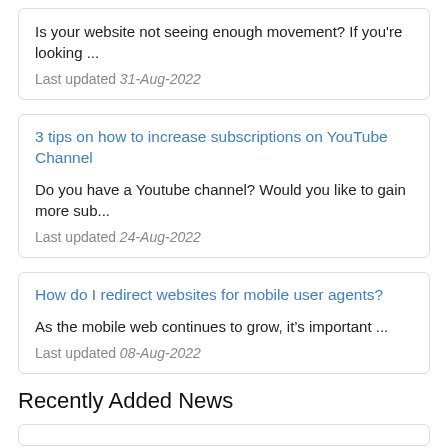Is your website not seeing enough movement? If you're looking ...
Last updated 31-Aug-2022
3 tips on how to increase subscriptions on YouTube Channel
Do you have a Youtube channel? Would you like to gain more sub...
Last updated 24-Aug-2022
How do I redirect websites for mobile user agents?
As the mobile web continues to grow, it&rsquo;s important ...
Last updated 08-Aug-2022
Recently Added News